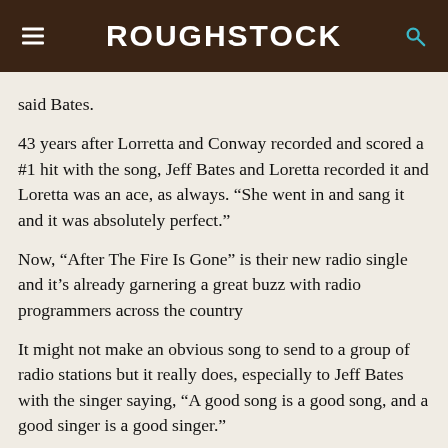ROUGHSTOCK
said Bates.
43 years after Lorretta and Conway recorded and scored a #1 hit with the song, Jeff Bates and Loretta recorded it and Loretta was an ace, as always. “She went in and sang it and it was absolutely perfect.”
Now, "After The Fire Is Gone" is their new radio single and it’s already garnering a great buzz with radio programmers across the country
It might not make an obvious song to send to a group of radio stations but it really does, especially to Jeff Bates with the singer saying, “A good song is a good song, and a good singer is a good singer.”
“People who listen to music don’t care [about the traditional style of the song]” says Bates. “They just don’t care about the